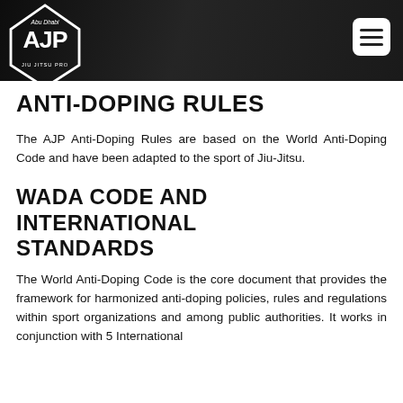[Figure (logo): AJP (Abu Dhabi Jiu-Jitsu Pro) logo in white on dark header banner with arena background]
ANTI-DOPING RULES
The AJP Anti-Doping Rules are based on the World Anti-Doping Code and have been adapted to the sport of Jiu-Jitsu.
WADA CODE AND INTERNATIONAL STANDARDS
The World Anti-Doping Code is the core document that provides the framework for harmonized anti-doping policies, rules and regulations within sport organizations and among public authorities. It works in conjunction with 5 International Standards.